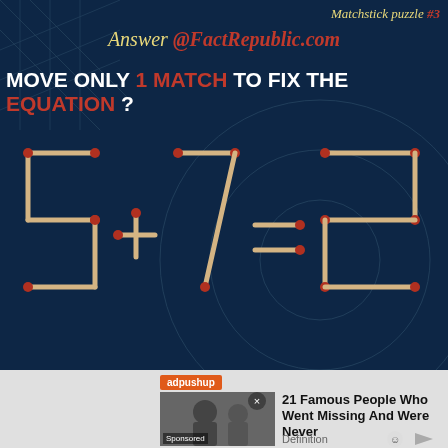Matchstick puzzle #3
Answer @FactRepublic.com
MOVE ONLY 1 MATCH TO FIX THE EQUATION ?
[Figure (illustration): Matchstick equation showing 5 + 7 = 2 made from matchsticks on dark blue background with geometric line patterns]
[Figure (infographic): Advertisement banner: adpushup label, photo of person, X close button, text '21 Famous People Who Went Missing And Were Never', subtext 'Definition']